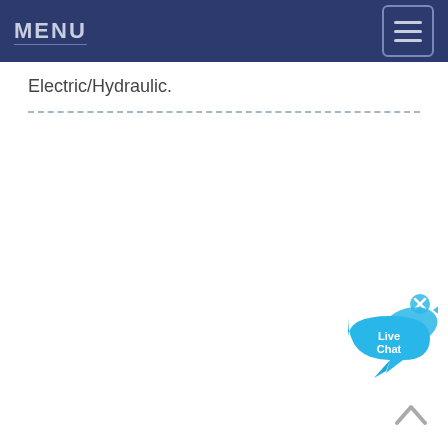MENU
Electric/Hydraulic.
[Figure (screenshot): Live Chat widget with blue speech bubble and fish icon, with a close (x) button]
[Figure (other): Back to top arrow chevron button]